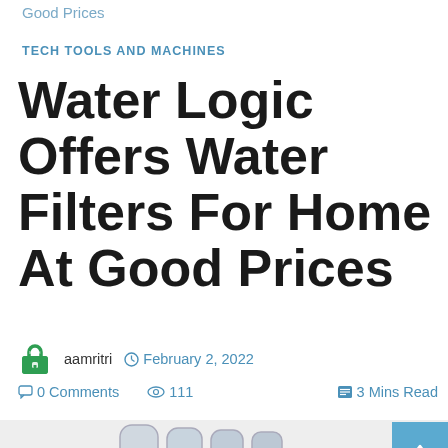Good Prices
TECH TOOLS AND MACHINES
Water Logic Offers Water Filters For Home At Good Prices
aamritri   February 2, 2022
0 Comments   111   3 Mins Read
[Figure (photo): Water filter system product photo showing a multi-stage reverse osmosis water filtration unit with several cylindrical filter housings]